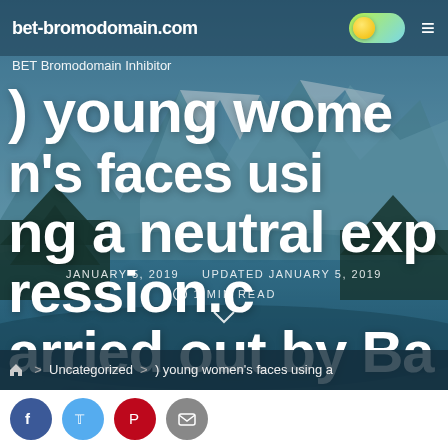bet-bromodomain.com
BET Bromodomain Inhibitor
) young women's faces using a neutral expression.carried out by Bargh) young women's faces having
JANUARY 5, 2019   UPDATED JANUARY 5, 2019
1 MIN READ
> Uncategorized > ) young women's faces using a